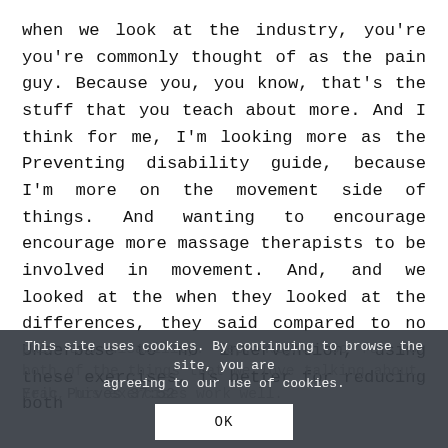when we look at the industry, you're you're commonly thought of as the pain guy. Because you, you know, that's the stuff that you teach about more. And I think for me, I'm looking more as the Preventing disability guide, because I'm more on the movement side of things. And wanting to encourage encourage more massage therapists to be involved in movement. And, and we looked at the when they looked at the differences, they said compared to no Underbase to no intervention, using these exercises, is better for reducing both
pain and disability. Yep. Right. So for for both of the things that we love talking about. Yeah, his exercises work well.
This site uses cookies. By continuing to browse the site, you are agreeing to our use of cookies.
OK
Eric Purves 37:52